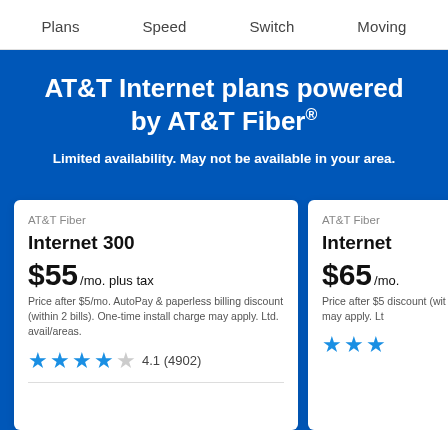Plans   Speed   Switch   Moving
AT&T Internet plans powered by AT&T Fiber®
Limited availability. May not be available in your area.
AT&T Fiber
Internet 300
$55/mo. plus tax
Price after $5/mo. AutoPay & paperless billing discount (within 2 bills). One-time install charge may apply. Ltd. avail/areas.
4.1 (4902)
AT&T Fiber
Internet
$65/mo.
Price after $5/mo. AutoPay & paperless billing discount (within 2 bills). One-time install charge may apply. Ltd.